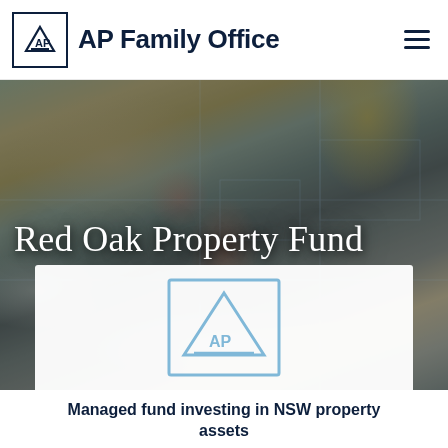AP Family Office
[Figure (photo): Overhead photo of construction workers reviewing blueprints on a table with a phone, measuring tape, compass tool, and a yellow hard hat visible]
Red Oak Property Fund
[Figure (logo): AP Family Office logo watermark (light blue) centered in white card overlay on hero image]
Managed fund investing in NSW property assets